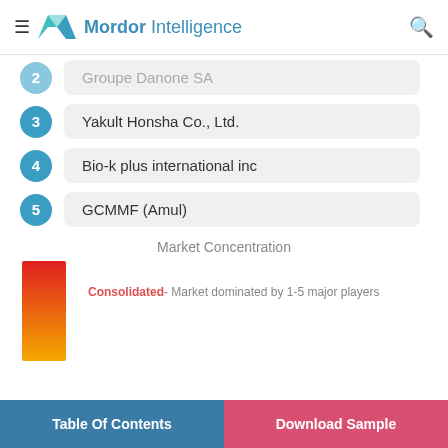Mordor Intelligence
2  Groupe Danone SA
3  Yakult Honsha Co., Ltd.
4  Bio-k plus international inc
5  GCMMF (Amul)
Market Concentration
[Figure (bar-chart): Market Concentration bar chart showing consolidated market dominated by 1-5 major players. Red-to-orange gradient bar visible at left side.]
Consolidated- Market dominated by 1-5 major players
Table Of Contents   Download Sample